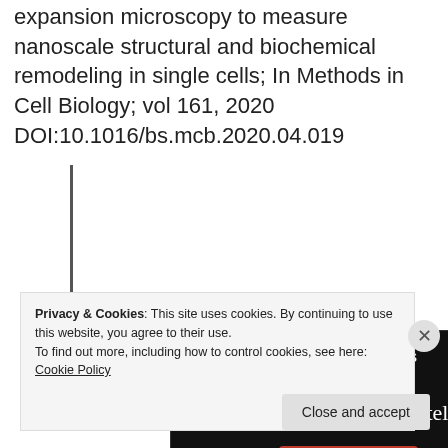expansion microscopy to measure nanoscale structural and biochemical remodeling in single cells; In Methods in Cell Biology; vol 161, 2020 DOI:10.1016/bs.mcb.2020.04.019
[Figure (screenshot): Longreads advertisement banner on dark background with logo, tagline 'Read anything great lately?' and 'Start reading' button]
Privacy & Cookies: This site uses cookies. By continuing to use this website, you agree to their use.
To find out more, including how to control cookies, see here: Cookie Policy
Close and accept